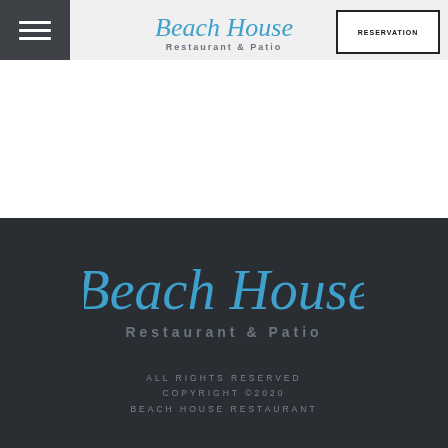[Figure (logo): Beach House Restaurant & Patio logo in header with hamburger menu icon and RESERVATION button]
[Figure (logo): Beach House Restaurant & Patio large logo centered in dark footer area]
ALL RIGHTS RESERVED
COPYRIGHT ©2020
BEACH HOUSE RESTAURANT